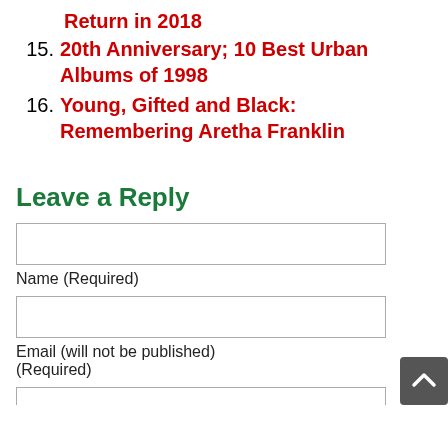Return in 2018
15. 20th Anniversary; 10 Best Urban Albums of 1998
16. Young, Gifted and Black: Remembering Aretha Franklin
Leave a Reply
Name (Required)
Email (will not be published) (Required)